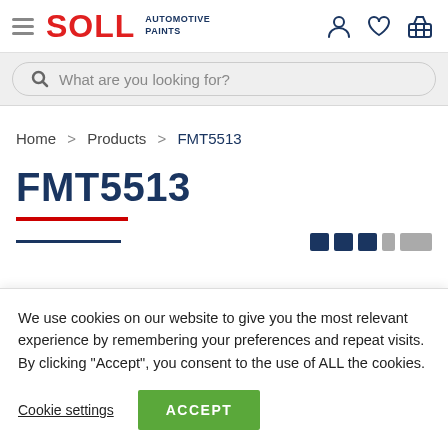SOLL AUTOMOTIVE PAINTS
What are you looking for?
Home > Products > FMT5513
FMT5513
We use cookies on our website to give you the most relevant experience by remembering your preferences and repeat visits. By clicking “Accept”, you consent to the use of ALL the cookies.
Cookie settings
ACCEPT